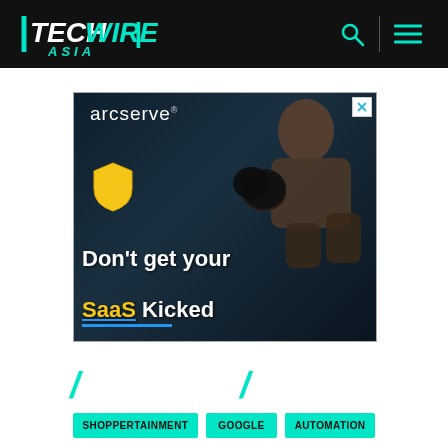TECHWIRE ASIA
[Figure (photo): Arcserve advertisement banner featuring a boxer in fighting stance with text 'Don't get your SaaS Kicked' on dark background with yellow shield logo]
SHOPPERTAINMENT
GOOGLE
AUTOMATION